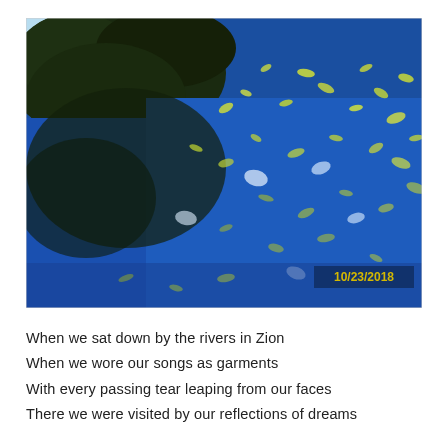[Figure (photo): A photograph (dated 10/23/2018) showing a blue water surface reflecting tree branches with green leaves, creating abstract patterns of dark tree silhouettes and bright yellow-green leaf reflections on the deep blue water.]
When we sat down by the rivers in Zion
When we wore our songs as garments
With every passing tear leaping from our faces
There we were visited by our reflections of dreams